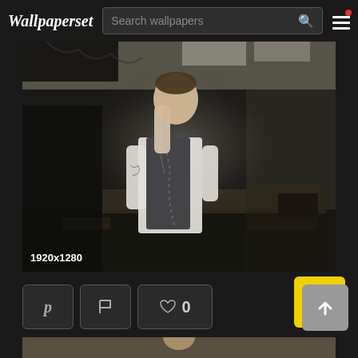Wallpaperset
Search wallpapers
[Figure (photo): A man in a white shirt and dark vest smoking in a dark, abandoned classroom. The room is in disarray with overturned furniture and debris. Resolution label: 1920x1280]
1920x1280
[Figure (screenshot): Action bar with Pinterest button, flag button, heart/like button showing 0 likes, and a yellow/gray scroll-to-top arrow button]